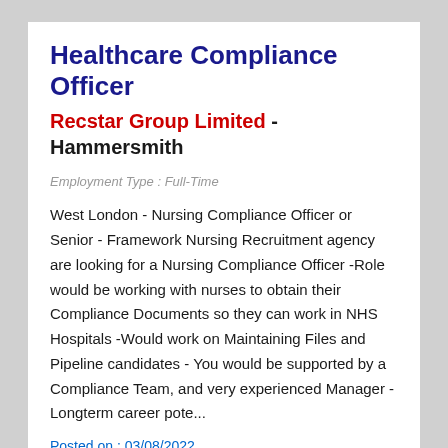Healthcare Compliance Officer
Recstar Group Limited - Hammersmith
Employment Type : Full-Time
West London - Nursing Compliance Officer or Senior - Framework Nursing Recruitment agency are looking for a Nursing Compliance Officer -Role would be working with nurses to obtain their Compliance Documents so they can work in NHS Hospitals -Would work on Maintaining Files and Pipeline candidates - You would be supported by a Compliance Team, and very experienced Manager -Longterm career pote...
Posted on : 03/08/2022
Apply Now!
Jobs in Hammersmith